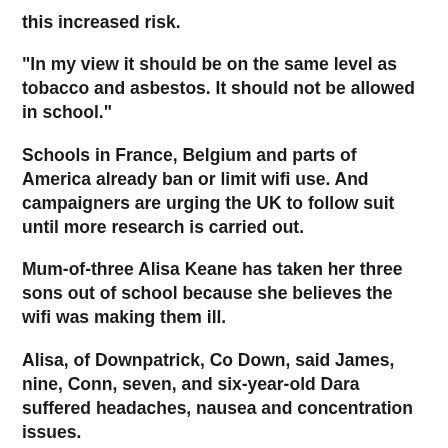this increased risk.
“In my view it should be on the same level as tobacco and asbestos. It should not be allowed in school.”
Schools in France, Belgium and parts of America already ban or limit wifi use. And campaigners are urging the UK to follow suit until more research is carried out.
Mum-of-three Alisa Keane has taken her three sons out of school because she believes the wifi was making them ill.
Alisa, of Downpatrick, Co Down, said James, nine, Conn, seven, and six-year-old Dara suffered headaches, nausea and concentration issues.
She is now home schooling them after seeing how the “fog” lifted away from the classroom...